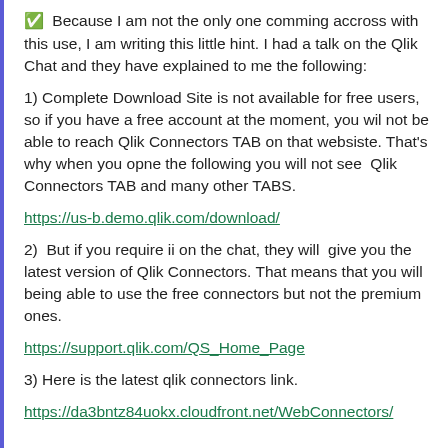☑ Because I am not the only one comming accross with this use, I am writing this little hint. I had a talk on the Qlik Chat and they have explained to me the following:
1) Complete Download Site is not available for free users, so if you have a free account at the moment, you wil not be able to reach Qlik Connectors TAB on that websiste. That's why when you opne the following you will not see Qlik Connectors TAB and many other TABS.
https://us-b.demo.qlik.com/download/
2) But if you require ii on the chat, they will give you the latest version of Qlik Connectors. That means that you will being able to use the free connectors but not the premium ones.
https://support.qlik.com/QS_Home_Page
3) Here is the latest qlik connectors link.
https://da3bntz84uokx.cloudfront.net/WebConnectors/